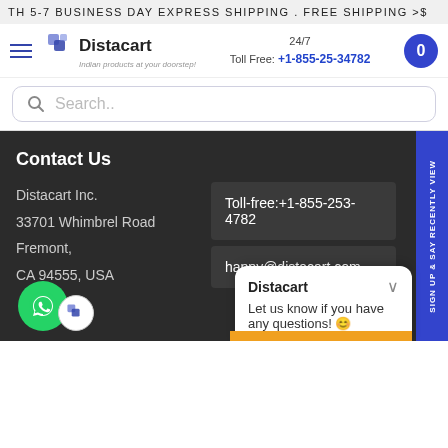TH 5-7 BUSINESS DAY EXPRESS SHIPPING . FREE SHIPPING >$
[Figure (logo): Distacart logo with hamburger menu, logo icon, company name, 24/7 Toll Free phone number, and cart button]
Search..
Contact Us
Distacart Inc.
33701 Whimbrel Road
Fremont,
CA 94555, USA
Toll-free:+1-855-253-4782
happy@distacart.com
Sign up & say RECENTLY VIEW
Distacart
Let us know if you have any questions! 😊